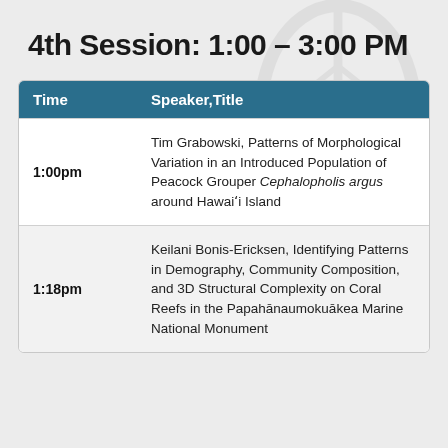4th Session: 1:00 - 3:00 PM
| Time | Speaker,Title |
| --- | --- |
| 1:00pm | Tim Grabowski, Patterns of Morphological Variation in an Introduced Population of Peacock Grouper Cephalopholis argus around Hawaiʻi Island |
| 1:18pm | Keilani Bonis-Ericksen, Identifying Patterns in Demography, Community Composition, and 3D Structural Complexity on Coral Reefs in the Papahānaumokuākea Marine National Monument |